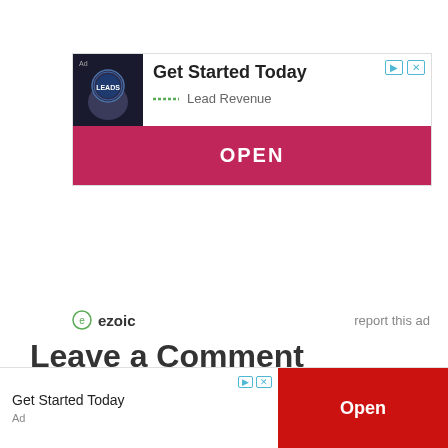[Figure (screenshot): Advertisement banner: 'Get Started Today' with Lead Revenue brand, OPEN button in crimson, and ad controls]
ezoic   report this ad
Leave a Comment
[Figure (screenshot): Bottom advertisement bar: 'Get Started Today' with Open button in red]